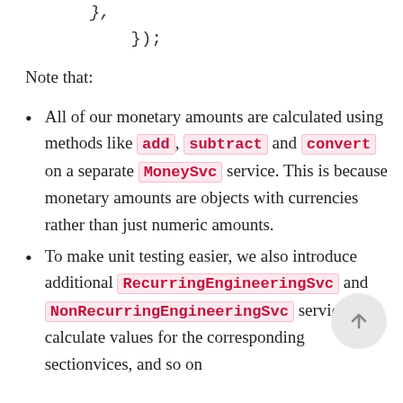},
    });
Note that:
All of our monetary amounts are calculated using methods like add, subtract and convert on a separate MoneySvc service. This is because monetary amounts are objects with currencies rather than just numeric amounts.
To make unit testing easier, we also introduce additional RecurringEngineeringSvc and NonRecurringEngineeringSvc services to calculate values for the corresponding sectionvices, and so on